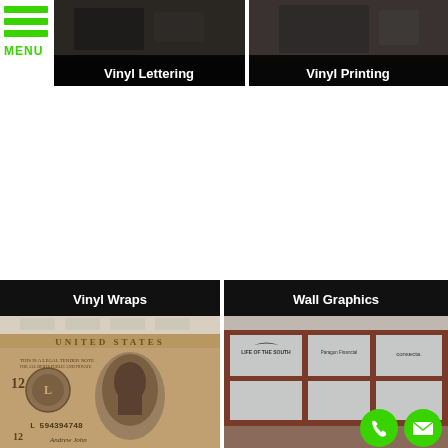[Figure (screenshot): Green hamburger menu icon with three horizontal green bars and MENU label below]
[Figure (photo): Dark photo panel labeled Vinyl Lettering at bottom]
[Figure (photo): Dark photo panel labeled Vinyl Printing at bottom]
[Figure (photo): Large format dollar bill mural vinyl wrap with UNITED STATES text, president portrait, serial number L 594394748, labeled Vinyl Wraps]
[Figure (photo): Office window wall graphics showing Life of the South, Paragon Financial, consecta logos on frosted windows, with phone and email green circle buttons, labeled Wall Graphics]